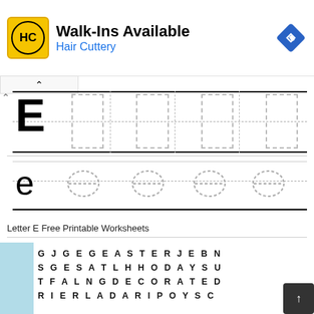[Figure (other): Hair Cuttery advertisement banner with logo, 'Walk-Ins Available' headline, and navigation icon]
[Figure (other): Letter E tracing worksheet showing uppercase E and dashed tracing boxes on ruled lines]
[Figure (other): Lowercase e tracing row with dashed oval shapes to trace]
Letter E Free Printable Worksheets
[Figure (other): Word search grid with letters: G J G E G E A S T E R J E B N / S G E S A T L H H O D A Y S U / T F A L N G D E C O R A T E D / R I E R L A D A R I P O Y S C]